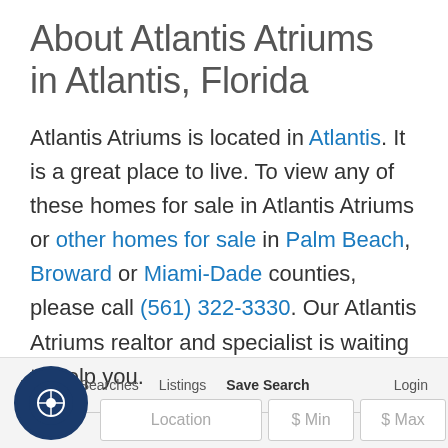About Atlantis Atriums in Atlantis, Florida
Atlantis Atriums is located in Atlantis. It is a great place to live. To view any of these homes for sale in Atlantis Atriums or other homes for sale in Palm Beach, Broward or Miami-Dade counties, please call (561) 322-3330. Our Atlantis Atriums realtor and specialist is waiting to help you.
Profile   Searches   Listings   Save Search   Login
Location   $ Min   $ Max